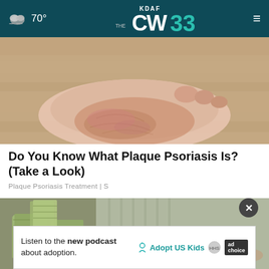70° KDAF CW 33
[Figure (photo): Close-up photo of a person's heel and foot from below, showing cracked or dry skin on the sole, on a wooden floor background.]
Do You Know What Plaque Psoriasis Is? (Take a Look)
Plaque Psoriasis Treatment | S
[Figure (photo): Photo of stacks of bundled US dollar bills on a desk, with a person in a light striped shirt handling the money.]
Listen to the new podcast about adoption.